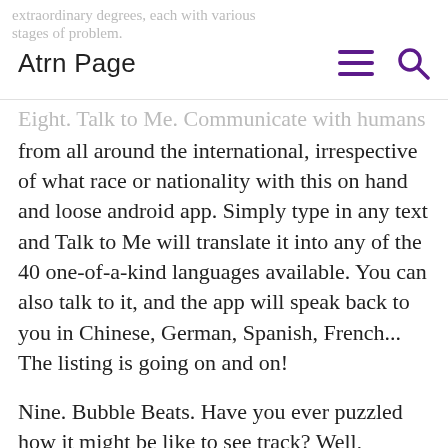Atrn Page
Eight. Talk to Me. Communicate with humans from all around the international, irrespective of what race or nationality with this on hand and loose android app. Simply type in any text and Talk to Me will translate it into any of the 40 one-of-a-kind languages available. You can also talk to it, and the app will speak back to you in Chinese, German, Spanish, French... The listing is going on and on!
Nine. Bubble Beats. Have you ever puzzled how it might be like to see track? Well, Bubble Beats provides the answer to that question with its unique and revolutionary interface. Free from android app stores, Bubble Beat is a jukebox of kinds that lets you assign coloured bubbles or dots to certain tracks. You can then